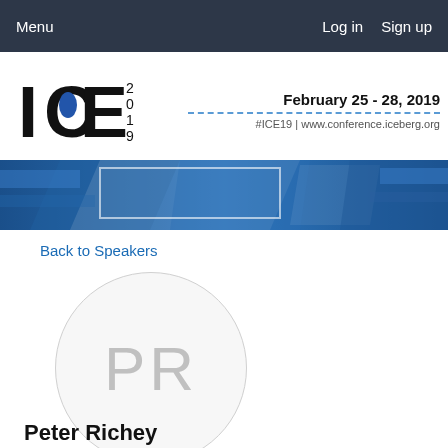Menu    Log in  Sign up
[Figure (logo): ICE 2019 conference logo with Illinois state shape icon, and event details: February 25 - 28, 2019, #ICE19 | www.conference.iceberg.org]
[Figure (illustration): Blue abstract banner graphic with white angled light streaks]
Back to Speakers
[Figure (photo): Speaker avatar placeholder circle with initials PR]
Peter Richey